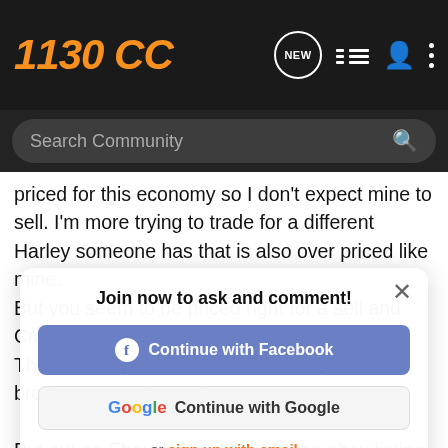1130 CC
Search Community
priced for this economy so I don't expect mine to sell. I'm more trying to trade for a different Harley someone has that is also over priced like mine.
But you seem to be priced right for a sell and Craigs List gets LOTS of attention.
This is what you do, I'll share, since you're all brother VROD lovers here.

Put out an Ebay listing, then put the ebay listing addy/link in your Craigs List ad, that way, they can link to your ebay ad where the pics are a lot better and they look 100 X's better than Craigs List pics. Just start the Ebay price about $1,000.00 over what you expect to get, that way no one will bid on it, then end the ebay listing early so some idiot doesn't take high bid, then not pay you, then you get charged a selling fee
Join now to ask and comment!
Continue with Facebook
Continue with Google
or sign up with email